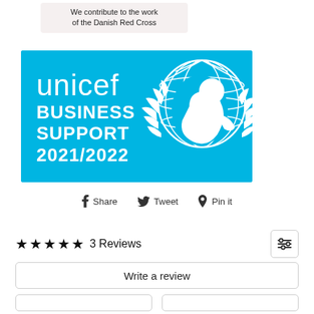We contribute to the work of the Danish Red Cross
[Figure (logo): UNICEF Business Support 2021/2022 badge on cyan/blue background with UNICEF logo (globe with child silhouette and laurel branches)]
Share  Tweet  Pin it
★★★★★ 3 Reviews
Write a review